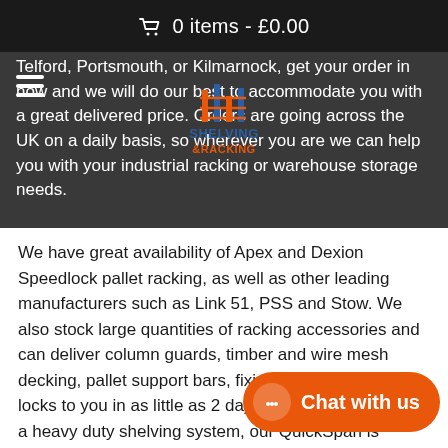🛒 0 items - £0.00
Telford, Portsmouth, or Kilmarnock, get your order in now and we will do our best to accommodate you with a great delivered price. Orders are going across the UK on a daily basis, so wherever you are we can help you with your industrial racking or warehouse storage needs.
We have great availability of Apex and Dexion Speedlock pallet racking, as well as other leading manufacturers such as Link 51, PSS and Stow. We also stock large quantities of racking accessories and can deliver column guards, timber and wire mesh decking, pallet support bars, fixing bolts and beam locks to you in as little as 2 days. If you are looking for a heavy duty shelving system, our QuickSpan is always very popular, due to its strength, versatility and simplicity. We have thousands of bays in stock in a wide range of sizes to suit all hand loaded storage requirements.
Whatever your industrial pallet racking or shelving needs, please call us on 08... or send us an enquiry form and we will do all we can to help you